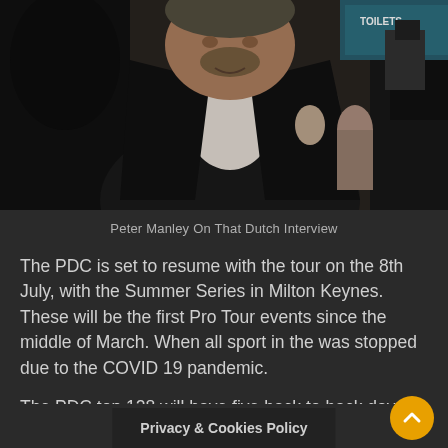[Figure (photo): Photo of Peter Manley, a heavyset man in a dark suit with open white shirt, at a crowded indoor venue. Sign saying TOILETS visible in background.]
Peter Manley On That Dutch Interview
The PDC is set to resume with the tour on the 8th July, with the Summer Series in Milton Keynes. These will be the first Pro Tour events since the middle of March. When all sport in the was stopped due to the COVID 19 pandemic.
The PDC top 128 will have five back to back days of action, before the start of the World Matchplay. At this point, it's still unclear if the money from the Summer Seris will count towards the ranking for the Matchplay. The PDC is still waiting to see what happens with the UK travel restrictions.
Privacy & Cookies Policy